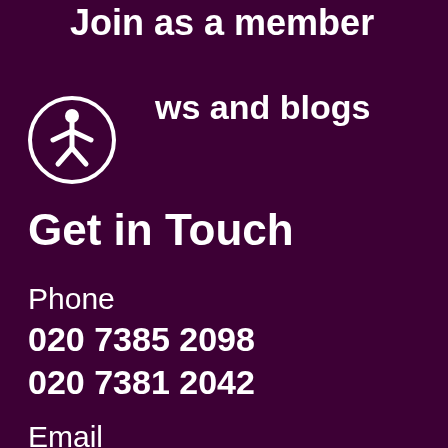Join as a member
[Figure (illustration): Accessibility icon — a circular badge with a person/wheelchair symbol in white on a dark purple background]
News and blogs
Get in Touch
Phone
020 7385 2098
020 7381 2042
Email
info@aod.org.uk